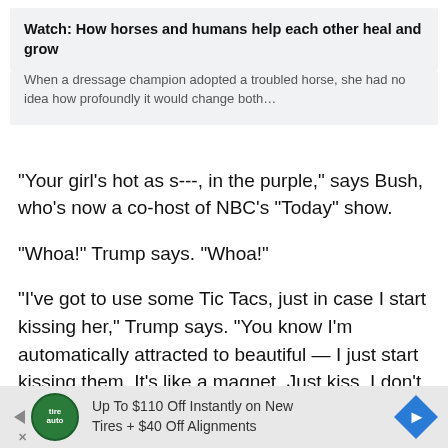Watch: How horses and humans help each other heal and grow
When a dressage champion adopted a troubled horse, she had no idea how profoundly it would change both…
“Your girl’s hot as s---, in the purple,” says Bush, who’s now a co-host of NBC’s “Today” show.
“Whoa!” Trump says. “Whoa!”
“I’ve got to use some Tic Tacs, just in case I start kissing her,” Trump says. “You know I’m automatically attracted to beautiful — I just start kissing them. It’s like a magnet. Just kiss. I don’t even wait.”
[Figure (infographic): Advertisement banner: Up To $110 Off Instantly on New Tires + $40 Off Alignments, with TireAuto logo and blue diamond arrow icon]